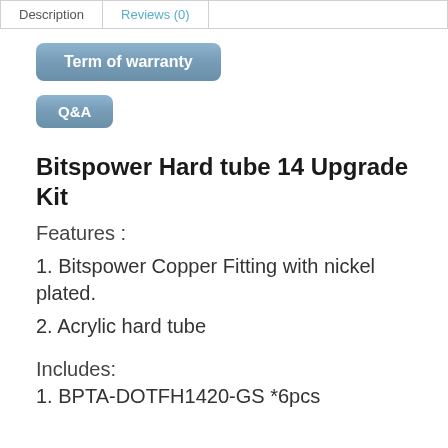Description | Reviews (0)
Term of warranty
Q&A
Bitspower Hard tube 14 Upgrade Kit
Features :
1. Bitspower Copper Fitting with nickel plated.
2. Acrylic hard tube
Includes:
1. BPTA-DOTFH1420-GS *6pcs